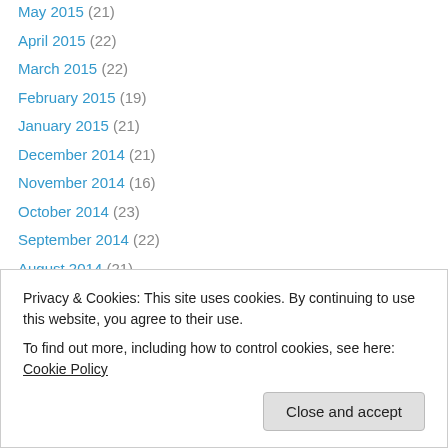May 2015 (21)
April 2015 (22)
March 2015 (22)
February 2015 (19)
January 2015 (21)
December 2014 (21)
November 2014 (16)
October 2014 (23)
September 2014 (22)
August 2014 (21)
July 2014 (20)
June 2014 (20)
May 2014 (19)
April 2014 (22)
October 2013 (25)
Privacy & Cookies: This site uses cookies. By continuing to use this website, you agree to their use. To find out more, including how to control cookies, see here: Cookie Policy